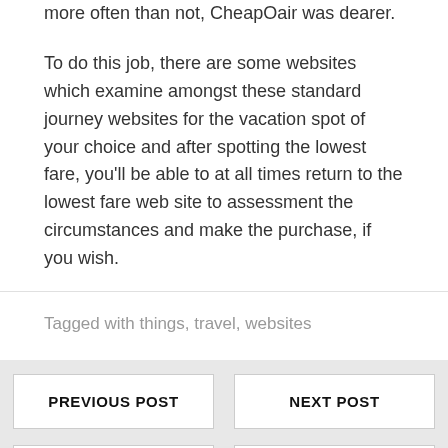more often than not, CheapOair was dearer.
To do this job, there are some websites which examine amongst these standard journey websites for the vacation spot of your choice and after spotting the lowest fare, you’ll be able to at all times return to the lowest fare web site to assessment the circumstances and make the purchase, if you wish.
Tagged with things, travel, websites
PREVIOUS POST
NEXT POST
PREVIOUS POST
NEXT POST